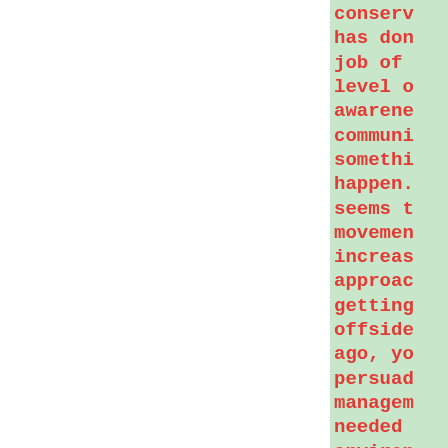conservation mov has done a brill job of increasin level of environ awareness in the community. This something which happen. however seems to us that movement has tak increasingly ext approach, which getting the comm offside. Forty y ago, you could n persuade company managements that needed to be mor environmentally Now you cannot p